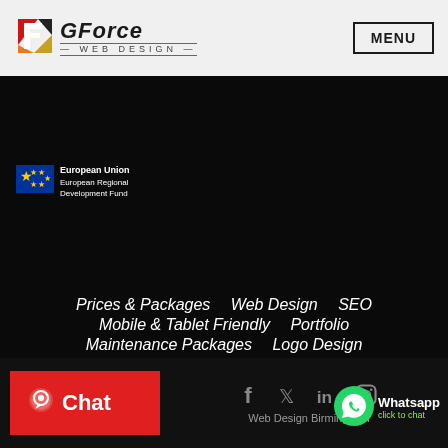[Figure (logo): GForce Web Design logo with stylized F icon in red/orange/gold and italic GForce text with WEB DESIGN subtitle]
MENU
[Figure (logo): European Union European Regional Development Fund badge with EU flag]
Prices & Packages    Web Design    SEO
Mobile & Tablet Friendly    Portfolio
Maintenance Packages    Logo Design
Google Adwords    Blog    Schedule 1-on-1
Contact    Cookies and Privacy Policy
Instant Price Calculator
[Figure (logo): Red Chat button with speech bubble icon]
[Figure (infographic): Social media icons: Facebook, Twitter, LinkedIn, Instagram in grey]
Web Design Birmingham
[Figure (logo): WhatsApp green logo with Whatsapp click to chat text]